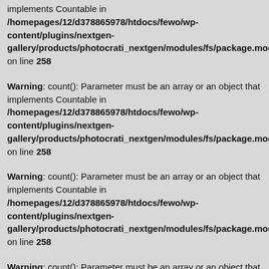implements Countable in /homepages/12/d378865978/htdocs/fewo/wp-content/plugins/nextgen-gallery/products/photocrati_nextgen/modules/fs/package.module.fs. on line 258
Warning: count(): Parameter must be an array or an object that implements Countable in /homepages/12/d378865978/htdocs/fewo/wp-content/plugins/nextgen-gallery/products/photocrati_nextgen/modules/fs/package.module.fs. on line 258
Warning: count(): Parameter must be an array or an object that implements Countable in /homepages/12/d378865978/htdocs/fewo/wp-content/plugins/nextgen-gallery/products/photocrati_nextgen/modules/fs/package.module.fs. on line 258
Warning: count(): Parameter must be an array or an object that implements Countable in